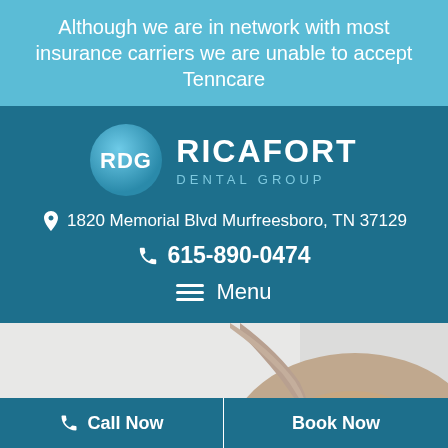Although we are in network with most insurance carriers we are unable to accept Tenncare
[Figure (logo): Ricafort Dental Group logo: blue circle with RDG initials in white, and text RICAFORT DENTAL GROUP in teal/light blue]
1820 Memorial Blvd Murfreesboro, TN 37129
615-890-0474
Menu
[Figure (photo): Photo of a woman wearing a hijab, smiling, looking upward, cropped to show face and upper head area against a light background]
Call Now
Book Now